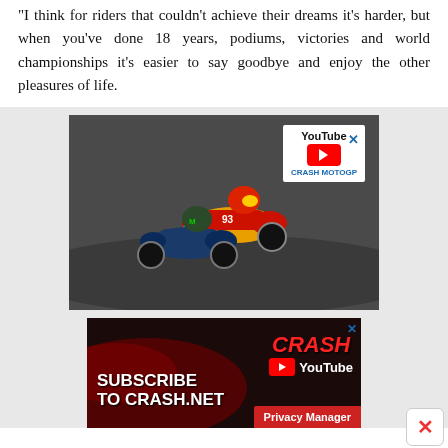“I think for riders that couldn’t achieve their dreams it’s harder, but when you’ve done 18 years, podiums, victories and world championships it’s easier to say goodbye and enjoy the other pleasures of life.
[Figure (screenshot): YouTube video thumbnail showing two MotoGP riders (one in Repsol Honda colors, number 93) battling on track, with YouTube logo and CRASH MOTOGP branding overlay]
[Figure (screenshot): Advertisement banner: Subscribe to Crash.net with CRASH YouTube branding on dark red background with racing car imagery]